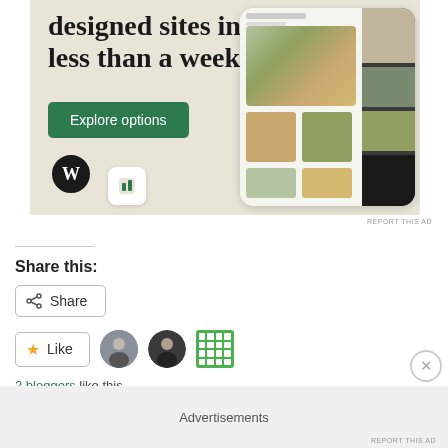[Figure (screenshot): WordPress.com advertisement banner showing 'designed sites in less than a week' with Explore options button, WordPress logo, and website mockup screenshots on beige background]
REPORT THIS AD
Share this:
Share
Like
2 bloggers like this
Advertisements
REPORT THIS AD